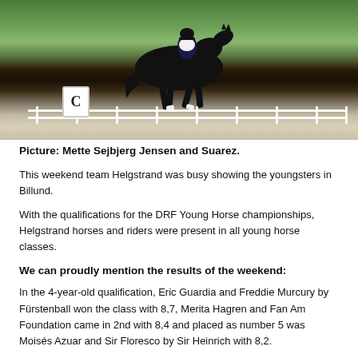[Figure (photo): A black horse with a rider in dressage attire cantering in an outdoor equestrian arena with a white fence and green grass background. A 'C' marker is visible on the left side of the arena.]
Picture: Mette Sejbjerg Jensen and Suarez.
This weekend team Helgstrand was busy showing the youngsters in Billund.
With the qualifications for the DRF Young Horse championships, Helgstrand horses and riders were present in all young horse classes.
We can proudly mention the results of the weekend:
In the 4-year-old qualification, Eric Guardia and Freddie Murcury by Fürstenball won the class with 8,7, Merita Hagren and Fan Am Foundation came in 2nd with 8,4 and placed as number 5 was Moisés Azuar and Sir Floresco by Sir Heinrich with 8,2.